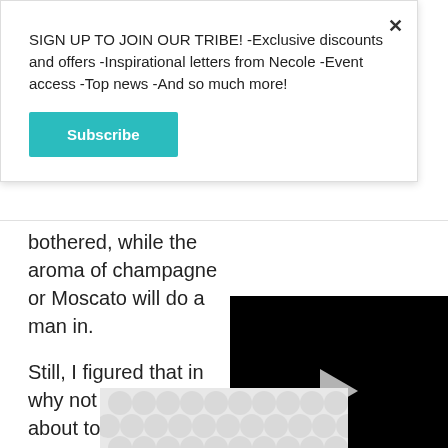SIGN UP TO JOIN OUR TRIBE! -Exclusive discounts and offers -Inspirational letters from Necole -Event access -Top news -And so much more!
Subscribe
bothered, while the aroma of champagne or Moscato will do a man in.
Still, I figured that in... why not toast one a... about to have with... Cocktails? It's basica... cream and coffee liq...
[Figure (other): Black video player with a play button in the center]
[Figure (other): Advertisement strip with grey circular dot pattern]